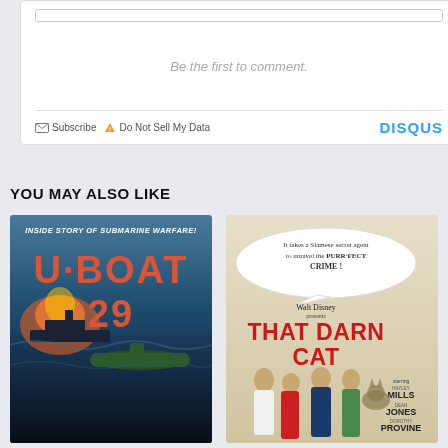[Figure (screenshot): Disqus comment box with empty state showing 'Be the first to comment.' and footer with Subscribe, Do Not Sell My Data links and DISQUS branding]
YOU MAY ALSO LIKE
[Figure (photo): Movie poster for U-BOAT 29 with tagline 'INSIDE STORY OF SUBMARINE WARFARE!' showing red text on dark blue background with naval battle scene]
[Figure (photo): Movie poster for Walt Disney's THAT DARN CAT with tagline 'It takes a Siamese secret agent to unravel the PURR-FECT CRIME!' starring Hayley Mills, Dean Jones, Dorothy Provine]